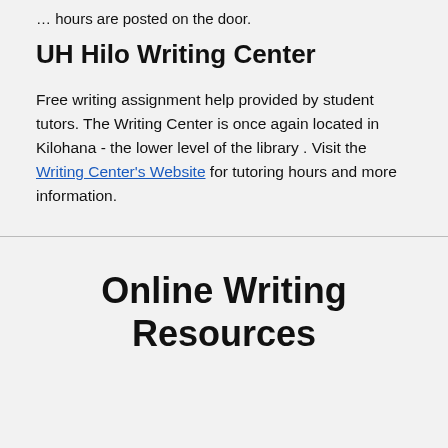… hours are posted on the door.
UH Hilo Writing Center
Free writing assignment help provided by student tutors. The Writing Center is once again located in Kilohana - the lower level of the library . Visit the Writing Center's Website for tutoring hours and more information.
Online Writing Resources